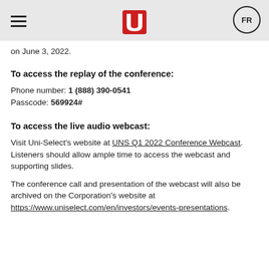Uni-Select logo, hamburger menu, FR button
on June 3, 2022.
To access the replay of the conference:
Phone number: 1 (888) 390-0541
Passcode: 569924#
To access the live audio webcast:
Visit Uni-Select's website at UNS Q1 2022 Conference Webcast. Listeners should allow ample time to access the webcast and supporting slides.
The conference call and presentation of the webcast will also be archived on the Corporation's website at https://www.uniselect.com/en/investors/events-presentations.